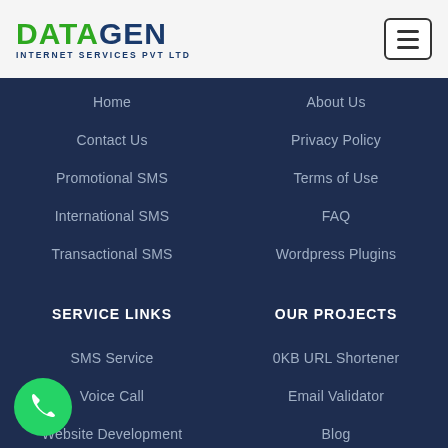[Figure (logo): Datagen Internet Services Pvt Ltd logo with green DATAGEN text and dark blue subtitle]
Home
About Us
Contact Us
Privacy Policy
Promotional SMS
Terms of Use
International SMS
FAQ
Transactional SMS
Wordpress Plugins
SERVICE LINKS
OUR PROJECTS
SMS Service
0KB URL Shortener
Voice Call
Email Validator
Website Development
Blog
API Development
Missed Call Services
Google Verified SMS
IVR Services